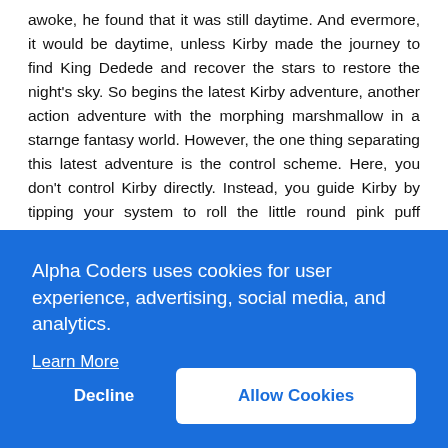awoke, he found that it was still daytime. And evermore, it would be daytime, unless Kirby made the journey to find King Dedede and recover the stars to restore the night's sky. So begins the latest Kirby adventure, another action adventure with the morphing marshmallow in a starnge fantasy world. However, the one thing separating this latest adventure is the control scheme. Here, you don't control Kirby directly. Instead, you guide Kirby by tipping your system to roll the little round pink puff through a series of mazes. If you get in a jam you can make Kirby jump by a controller press, and Kirby can still acquire weapons from other enemies, but the real skill is using the tilting to your advantage.
Alpha Coders uses cookies for user experience, advertising, social media, and analytics.
Learn More
Decline
Allow Cookies